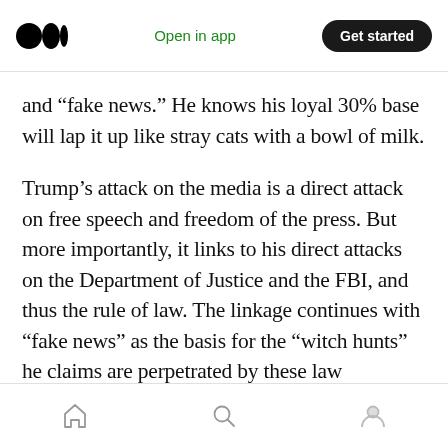Medium logo | Open in app | Get started
and “fake news.” He knows his loyal 30% base will lap it up like stray cats with a bowl of milk.
Trump’s attack on the media is a direct attack on free speech and freedom of the press. But more importantly, it links to his direct attacks on the Department of Justice and the FBI, and thus the rule of law. The linkage continues with “fake news” as the basis for the “witch hunts” he claims are perpetrated by these law enforcement agencies. And it’s led to the firings of perceived opponents including Sally Yates, Preet Bharara,
Home | Search | Profile